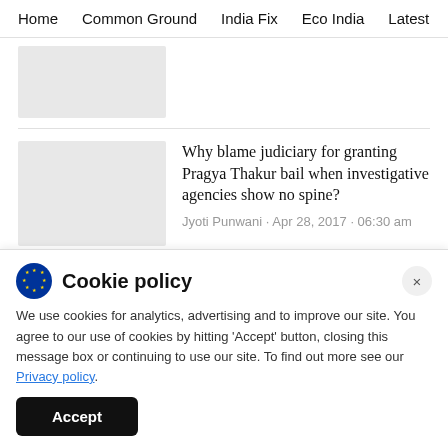Home · Common Ground · India Fix · Eco India · Latest · Th
[Figure (photo): Gray placeholder thumbnail image (partially visible, top article)]
[Figure (photo): Gray placeholder thumbnail image (second article)]
Why blame judiciary for granting Pragya Thakur bail when investigative agencies show no spine?
Jyoti Punwani · Apr 28, 2017 · 06:30 am
Cookie policy
We use cookies for analytics, advertising and to improve our site. You agree to our use of cookies by hitting 'Accept' button, closing this message box or continuing to use our site. To find out more see our Privacy policy.
Accept